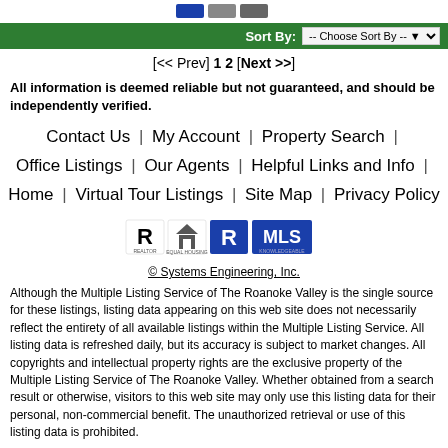[Figure (logo): Small icons/logos at top of page]
Sort By: -- Choose Sort By --
[<< Prev] 1 2 [Next >>]
All information is deemed reliable but not guaranteed, and should be independently verified.
Contact Us | My Account | Property Search | Office Listings | Our Agents | Helpful Links and Info | Home | Virtual Tour Listings | Site Map | Privacy Policy
[Figure (logo): Realtor, Equal Housing, MLS logos]
© Systems Engineering, Inc.
Although the Multiple Listing Service of The Roanoke Valley is the single source for these listings, listing data appearing on this web site does not necessarily reflect the entirety of all available listings within the Multiple Listing Service. All listing data is refreshed daily, but its accuracy is subject to market changes. All copyrights and intellectual property rights are the exclusive property of the Multiple Listing Service of The Roanoke Valley. Whether obtained from a search result or otherwise, visitors to this web site may only use this listing data for their personal, non-commercial benefit. The unauthorized retrieval or use of this listing data is prohibited.
Data Last Updated: 8/23/2022 5:01:00 AM